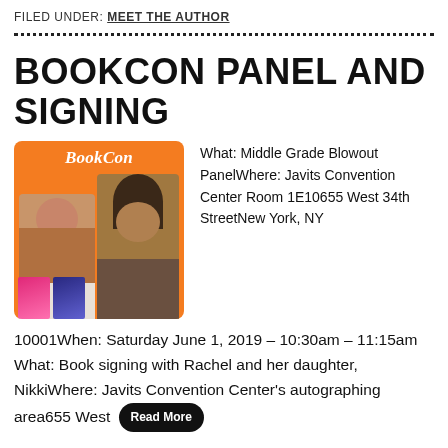FILED UNDER: MEET THE AUTHOR
BOOKCON PANEL AND SIGNING
[Figure (photo): BookCon promotional image showing two women authors with their book covers on an orange background with the BookCon logo]
What: Middle Grade Blowout PanelWhere: Javits Convention Center Room 1E10655 West 34th StreetNew York, NY 10001When: Saturday June 1, 2019 – 10:30am – 11:15am What: Book signing with Rachel and her daughter, NikkiWhere: Javits Convention Center's autographing area655 West
Read More